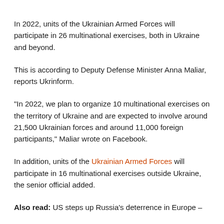In 2022, units of the Ukrainian Armed Forces will participate in 26 multinational exercises, both in Ukraine and beyond.
This is according to Deputy Defense Minister Anna Maliar, reports Ukrinform.
“In 2022, we plan to organize 10 multinational exercises on the territory of Ukraine and are expected to involve around 21,500 Ukrainian forces and around 11,000 foreign participants,” Maliar wrote on Facebook.
In addition, units of the Ukrainian Armed Forces will participate in 16 multinational exercises outside Ukraine, the senior official added.
Also read: US steps up Russia’s deterrence in Europe –